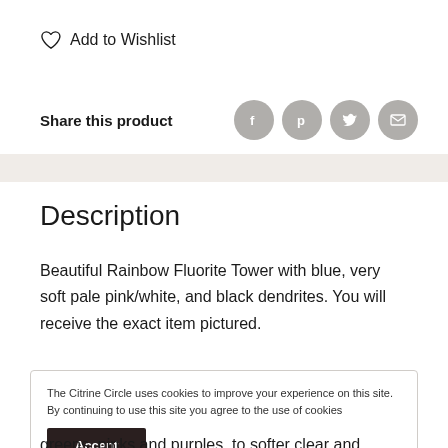♡ Add to Wishlist
Share this product
Description
Beautiful Rainbow Fluorite Tower with blue, very soft pale pink/white, and black dendrites. You will receive the exact item pictured.
The Citrine Circle uses cookies to improve your experience on this site. By continuing to use this site you agree to the use of cookies
Accept
greens, pinks and purples, to softer clear and yellow shades. The